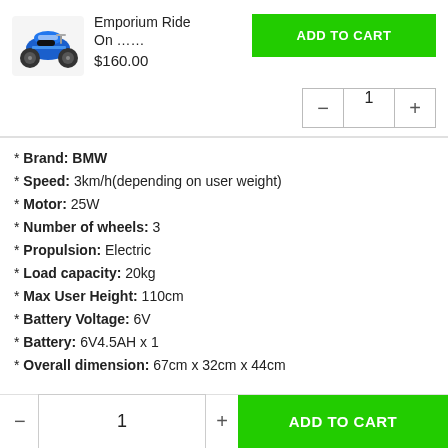[Figure (photo): Small blue toy BMW motorcycle ride-on product image]
Emporium Ride
On ……
$160.00
ADD TO CART
- 1 +
* Brand: BMW
* Speed: 3km/h(depending on user weight)
* Motor: 25W
* Number of wheels: 3
* Propulsion: Electric
* Load capacity: 20kg
* Max User Height: 110cm
* Battery Voltage: 6V
* Battery: 6V4.5AH x 1
* Overall dimension: 67cm x 32cm x 44cm
Kids Ride On Motorbike BMW Licensed S1000RR Motorcycle Car
- 1 + ADD TO CART